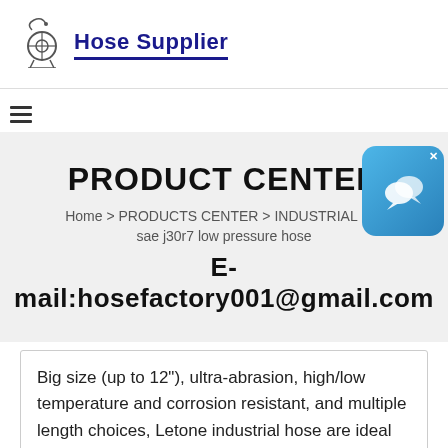Hose Supplier
[Figure (logo): Hose Supplier logo with industrial hose reel icon and text]
PRODUCT CENTER
Home > PRODUCTS CENTER > INDUSTRIAL H... sae j30r7 low pressure hose
E-mail:hosefactory001@gmail.com
[Figure (other): Chat widget/button with speech bubble icon and close X]
Big size (up to 12"), ultra-abrasion, high/low temperature and corrosion resistant, and multiple length choices, Letone industrial hose are ideal for industries like construction